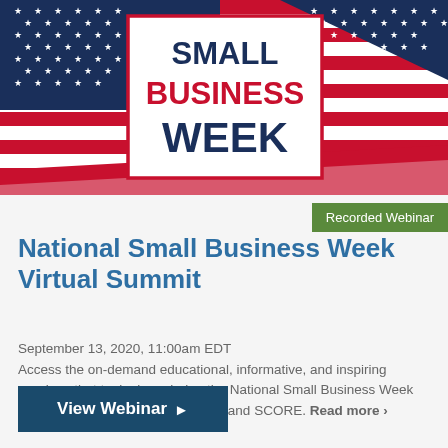[Figure (illustration): Small Business Week banner with American flag background (red and white stripes, blue field with white stars) and a white box with red border containing the text SMALL BUSINESS WEEK in bold navy and red letters]
Recorded Webinar
National Small Business Week Virtual Summit
September 13, 2020, 11:00am EDT
Access the on-demand educational, informative, and inspiring sessions that took place during the National Small Business Week Virtual Summit, hosted by the SBA and SCORE. Read more >
View Webinar ▶